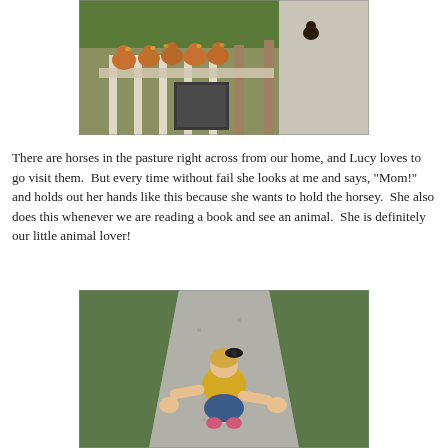[Figure (photo): Several brown/orange chickens perched on a wooden fence rail outdoors, with a black bird on a post to the right and green bushes in the background]
There are horses in the pasture right across from our home, and Lucy loves to go visit them.  But every time without fail she looks at me and says, "Mom!" and holds out her hands like this because she wants to hold the horsey.  She also does this whenever we are reading a book and see an animal.  She is definitely our little animal lover!
[Figure (photo): A young toddler girl with a black bow in her blonde hair, wearing a yellow top and jeans with pink shoes, photographed from above with arms outstretched standing on a gravel path with green grass on the sides]